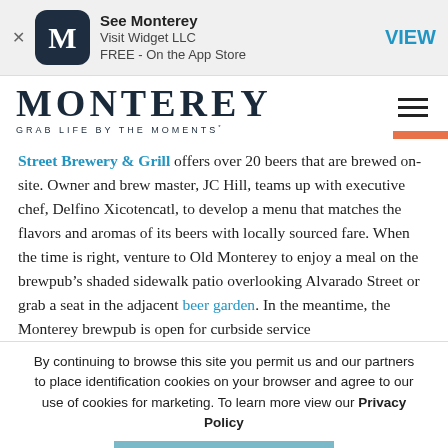[Figure (screenshot): App store banner with M logo icon, See Monterey app, Visit Widget LLC, FREE - On the App Store, VIEW button]
[Figure (logo): MONTEREY logo with tagline GRAB LIFE BY THE MOMENTS and hamburger menu icon]
Street Brewery & Grill offers over 20 beers that are brewed on-site. Owner and brew master, JC Hill, teams up with executive chef, Delfino Xicotencatl, to develop a menu that matches the flavors and aromas of its beers with locally sourced fare. When the time is right, venture to Old Monterey to enjoy a meal on the brewpub’s shaded sidewalk patio overlooking Alvarado Street or grab a seat in the adjacent beer garden. In the meantime, the Monterey brewpub is open for curbside service
By continuing to browse this site you permit us and our partners to place identification cookies on your browser and agree to our use of cookies for marketing. To learn more view our Privacy Policy
ACCEPT & DISMISS